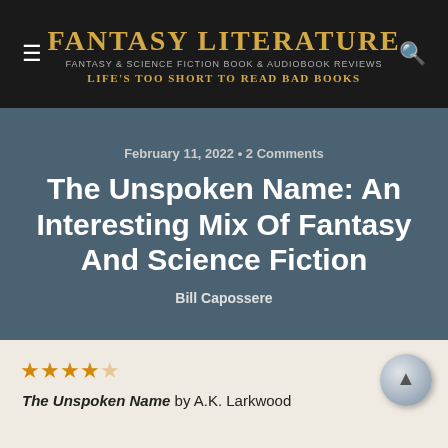Fantasy Literature — Fantasy & Science Fiction Book & Audiobook Reviews — Life's too short to Read Bad Books
February 11, 2022 • 2 Comments
The Unspoken Name: An Interesting Mix Of Fantasy And Science Fiction
Bill Capossere
★★★★☆ The Unspoken Name by A.K. Larkwood
[Figure (photo): Book cover image with text: PRIESTESS. ASSASSIN. TRAITOR.]